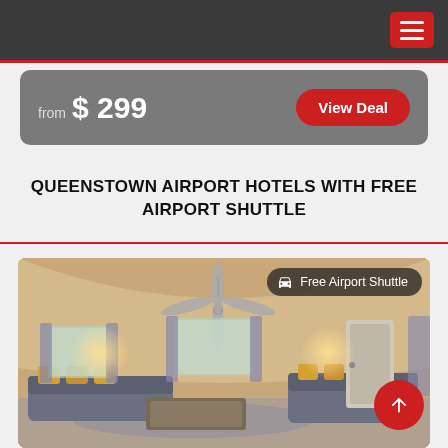Navigation header with hamburger menu
from $ 299
View Deal
QUEENSTOWN AIRPORT HOTELS WITH FREE AIRPORT SHUTTLE
[Figure (photo): Interior of a hotel room/apartment in Queenstown with vaulted ceiling, ceiling fan, large sofas with yellow cushions, coffee table, and warm lighting. Badge overlay reads 'Free Airport Shuttle'. Red scroll-to-top button in bottom right.]